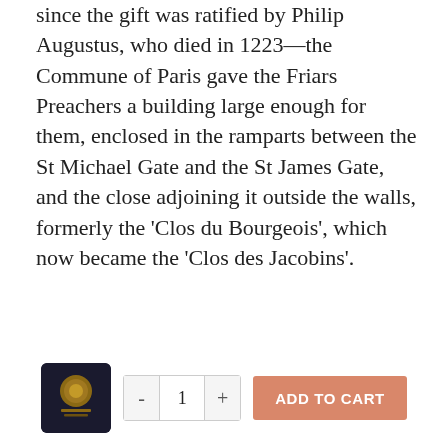since the gift was ratified by Philip Augustus, who died in 1223—the Commune of Paris gave the Friars Preachers a building large enough for them, enclosed in the ramparts between the St Michael Gate and the St James Gate, and the close adjoining it outside the walls, formerly the 'Clos du Bourgeois', which now became the 'Clos des Jacobins'.
Such considerable additions were not made without great expense. As at Bologna, the Friars Preachers knew financial difficulties. As at Bologna, these were cleared up; not by a bishop-legate but, at the request of the Bishop of Paris, by the Queen, Blanche of Castile.
This fact is attested by Stephen of Bourbon. Blanche of Castile was about to make a pilgrimage to St James of Compostello and was ready to devote to it 'a marvellous outlay'. The bishop, William of Auvergne, her confessor, who knew that [...